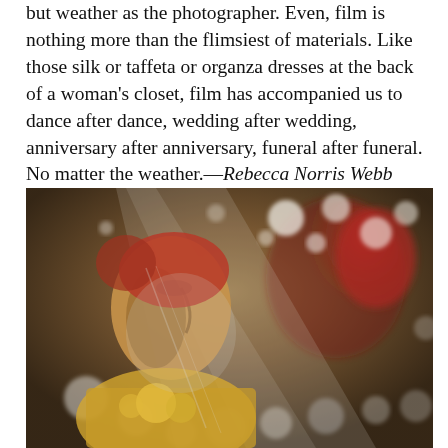but weather as the photographer. Even, film is nothing more than the flimsiest of materials. Like those silk or taffeta or organza dresses at the back of a woman's closet, film has accompanied us to dance after dance, wedding after wedding, anniversary after anniversary, funeral after funeral. No matter the weather.—Rebecca Norris Webb
[Figure (photo): A woman in profile wearing a veil and yellow/golden garment, surrounded by blurred floral decorations and colorful festive background]